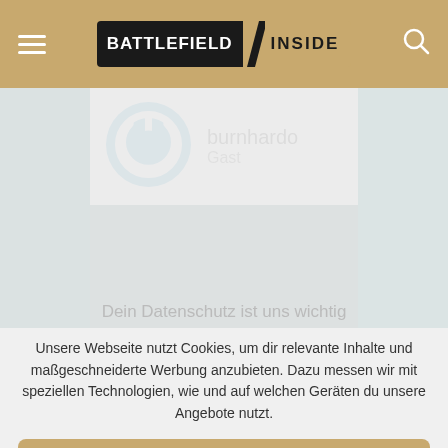BATTLEFIELD INSIDE
[Figure (illustration): User profile icon: blue circular power button icon]
burnhardo
Gast
Unsere Webseite nutzt Cookies, um dir relevante Inhalte und maßgeschneiderte Werbung anzubieten. Dazu messen wir mit speziellen Technologien, wie und auf welchen Geräten du unsere Angebote nutzt.
Cookies akzeptieren
Einstellungen